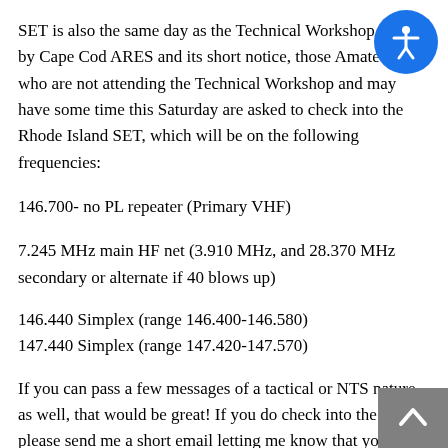SET is also the same day as the Technical Workshop put on by Cape Cod ARES and its short notice, those Amateurs who are not attending the Technical Workshop and may have some time this Saturday are asked to check into the Rhode Island SET, which will be on the following frequencies:
146.700- no PL repeater (Primary VHF)
7.245 MHz main HF net (3.910 MHz, and 28.370 MHz secondary or alternate if 40 blows up)
146.440 Simplex (range 146.400-146.580)
147.440 Simplex (range 147.420-147.570)
If you can pass a few messages of a tactical or NTS nature as well, that would be great! If you do check into the SET, please send me a short email letting me know that you have done so. Thanks to all for their help.